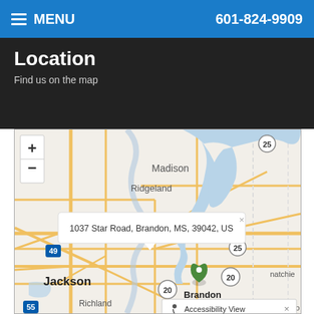MENU  601-824-9909
Location
Find us on the map
[Figure (map): Interactive street map showing the Brandon, MS area with Jackson to the west and Ridgeland/Madison to the north. A map marker is placed at 1037 Star Road, Brandon, MS with an open popup showing the address. The map shows roads, a reservoir/lake in blue, and city labels. Zoom in (+) and out (-) controls are visible in the upper left.]
1037 Star Road, Brandon, MS, 39042, US
Accessibility View